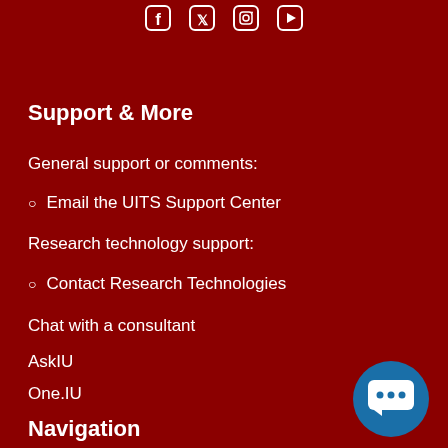[Figure (other): Social media icons (Facebook, Twitter, Instagram, YouTube) at top center]
Support & More
General support or comments:
Email the UITS Support Center
Research technology support:
Contact Research Technologies
Chat with a consultant
AskIU
One.IU
Navigation
Home
Menus
About us
[Figure (other): Blue circular chat widget button with speech bubble icon in bottom right corner]